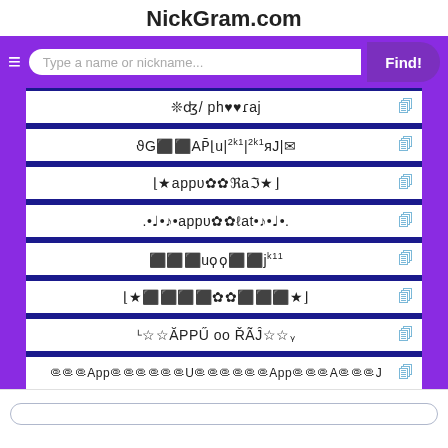NickGram.com
❊ʤ/ ph♥♥ɾaj͜
ϑG⬛⬛AP̄⌊u|²ᵏ¹|²ᵏ¹яJ|✉
⌊★appυ✿✿ℜaℑ★⌋
.•♩•♪•appυ✿✿ℓat•♪•♩•.
⬛⬛⬛uϙϙ⬛⬛jⁿᵏ¹¹
⌊★⬛⬛⬛⬛✿✿⬛⬛⬛★⌋
ᴸ☆☆ĂPPU oo ŘÃĴ☆☆ᵧ